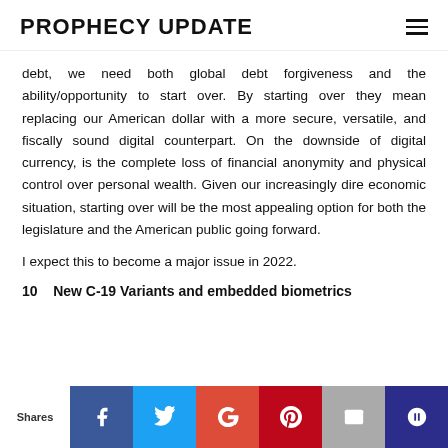PROPHECY UPDATE
debt, we need both global debt forgiveness and the ability/opportunity to start over. By starting over they mean replacing our American dollar with a more secure, versatile, and fiscally sound digital counterpart. On the downside of digital currency, is the complete loss of financial anonymity and physical control over personal wealth. Given our increasingly dire economic situation, starting over will be the most appealing option for both the legislature and the American public going forward.
I expect this to become a major issue in 2022.
10   New C-19 Variants and embedded biometrics